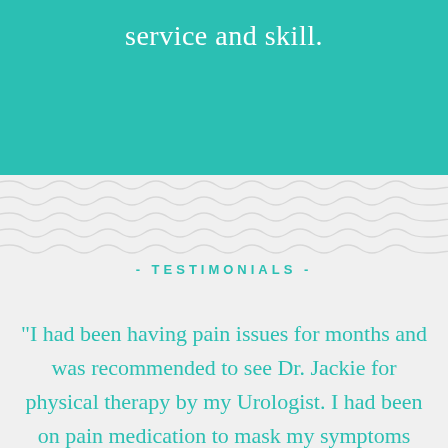service and skill.
- TESTIMONIALS -
"I had been having pain issues for months and was recommended to see Dr. Jackie for physical therapy by my Urologist. I had been on pain medication to mask my symptoms